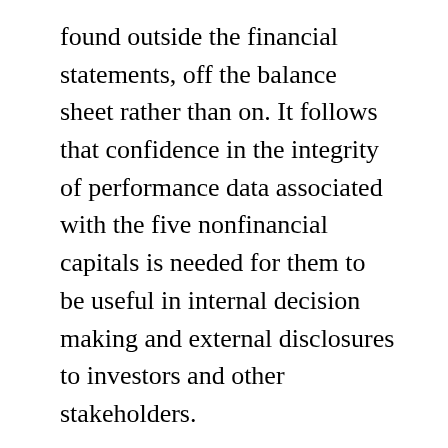found outside the financial statements, off the balance sheet rather than on. It follows that confidence in the integrity of performance data associated with the five nonfinancial capitals is needed for them to be useful in internal decision making and external disclosures to investors and other stakeholders.
When asked what lies ahead on the road toward integrated reporting (of which sustainability performance information is part), John White, former director of the U.S. Securities & Exchange Commission's (SEC) Division of Corporation Finance, responded